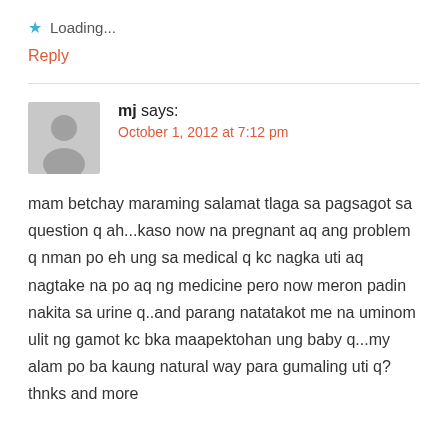★ Loading...
Reply
mj says:
October 1, 2012 at 7:12 pm
mam betchay maraming salamat tlaga sa pagsagot sa question q ah...kaso now na pregnant aq ang problem q nman po eh ung sa medical q kc nagka uti aq nagtake na po aq ng medicine pero now meron padin nakita sa urine q..and parang natatakot me na uminom ulit ng gamot kc bka maapektohan ung baby q...my alam po ba kaung natural way para gumaling uti q? thnks and more